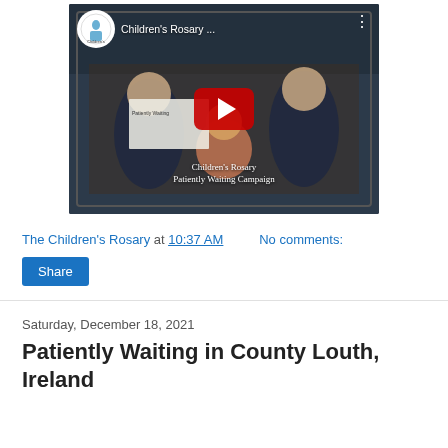[Figure (screenshot): YouTube video thumbnail showing Children's Rosary Patiently Waiting Campaign. Features children behind glass, a red YouTube play button overlay, and the Children's Rosary logo in top-left corner. Title reads 'Children's Rosary...' with three vertical dots in top-right. Overlay text reads 'Children's Rosary Patiently Waiting Campaign'.]
The Children's Rosary at 10:37 AM   No comments:
Share
Saturday, December 18, 2021
Patiently Waiting in County Louth, Ireland